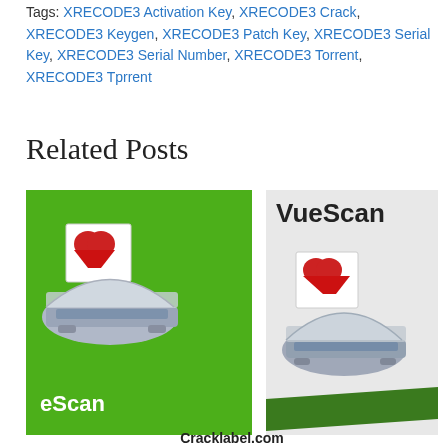Tags: XRECODE3 Activation Key, XRECODE3 Crack, XRECODE3 Keygen, XRECODE3 Patch Key, XRECODE3 Serial Key, XRECODE3 Serial Number, XRECODE3 Torrent, XRECODE3 Tprrent
Related Posts
[Figure (illustration): Two software product cover images side by side: left is eScan with green background and scanner icon; right is VueScan with gray background, VueScan logo text, scanner icon, and green banner at bottom. Below is text 'Cracklabel.com'.]
Cracklabel.com